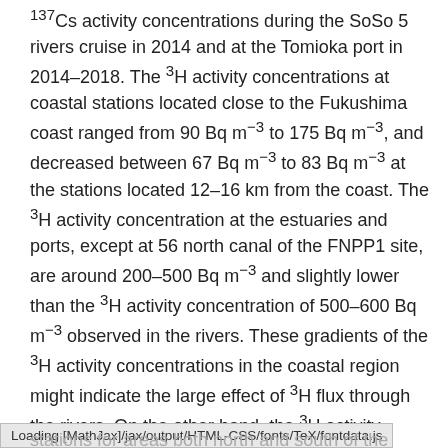137Cs activity concentrations during the SoSo 5 rivers cruise in 2014 and at the Tomioka port in 2014–2018. The 3H activity concentrations at coastal stations located close to the Fukushima coast ranged from 90 Bq m−3 to 175 Bq m−3, and decreased between 67 Bq m−3 to 83 Bq m−3 at the stations located 12–16 km from the coast. The 3H activity concentration at the estuaries and ports, except at 56 north canal of the FNPP1 site, are around 200–500 Bq m−3 and slightly lower than the 3H activity concentration of 500–600 Bq m−3 observed in the rivers. These gradients of the 3H activity concentrations in the coastal region might indicate the large effect of 3H flux through the rivers. On the other hand, the 3H activity concentration at 56N of the FNPP1 site was significantly high compared to the 3H activity concentration in surrounding waters both north and south of the FNPP1 site and in river waters. It should also be noted that the 3H activity concentrations were similar at the stations for areas both north and south of the rivers site.
Loading [MathJax]/jax/output/HTML-CSS/fonts/TeX/fontdata.js